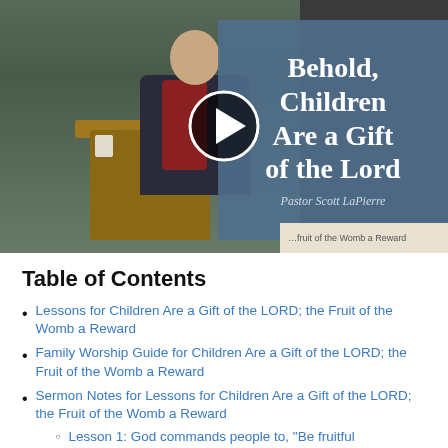[Figure (screenshot): Video thumbnail showing a pastor at a pulpit with a blue overlay box containing the title 'Behold, Children Are a Gift of the Lord' by Pastor Scott LaPierre, and a play button in the center.]
Table of Contents
Lessons for Children Are a Gift of the LORD; the Fruit of the Womb a Reward
Family Worship Guide for Children Are a Gift of the LORD; the Fruit of the Womb a Reward
Sermon Notes for Lessons for Children Are a Gift of the LORD; the Fruit of the Womb a Reward
Lesson 1: God commands people to, "Be fruitful